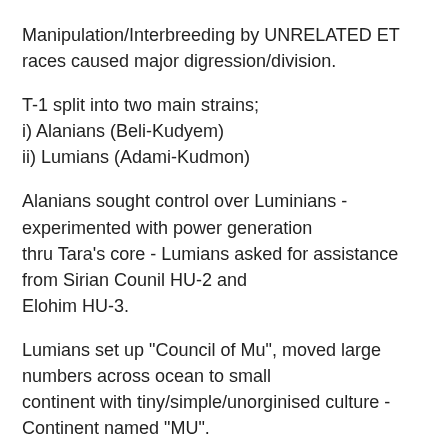Manipulation/Interbreeding by UNRELATED ET races caused major digression/division.
T-1 split into two main strains;
i) Alanians (Beli-Kudyem)
ii) Lumians (Adami-Kudmon)
Alanians sought control over Luminians - experimented with power generation
thru Tara's core - Lumians asked for assistance from Sirian Counil HU-2 and
Elohim HU-3.
Lumians set up "Council of Mu", moved large numbers across ocean to small
continent with tiny/simple/unorginised culture - Continent named "MU".
[comment: i wonder if Australia/Aboriginals or UK/stonehenge/grooveware